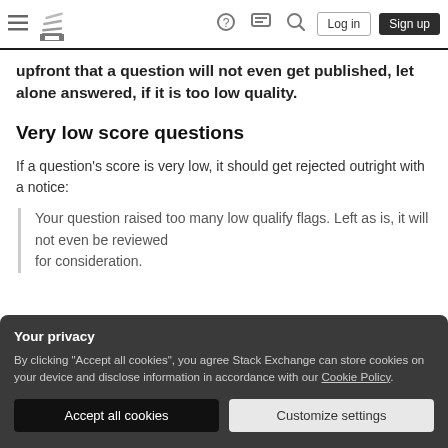Navigation bar with hamburger menu, Stack Overflow logo, help icon, chat icon, search icon, Log in button, Sign up button
upfront that a question will not even get published, let alone answered, if it is too low quality.
Very low score questions
If a question's score is very low, it should get rejected outright with a notice:
Your question raised too many low qualify flags. Left as is, it will not even be reviewed for consideration.
Your privacy
By clicking "Accept all cookies", you agree Stack Exchange can store cookies on your device and disclose information in accordance with our Cookie Policy.
Accept all cookies
Customize settings